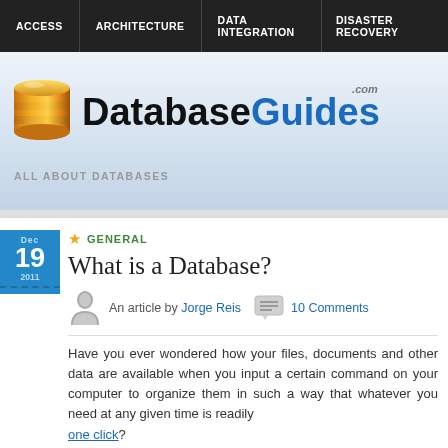ACCESS | ARCHITECTURE | DATA INTEGRATION | DISASTER RECOVERY
[Figure (logo): DatabaseGuides.com logo with orange database cylinder icon and bold text 'Database' in black and 'Guides' in blue, with '.com' in gray above]
ALL ABOUT DATABASES
GENERAL
What is a Database?
An article by Jorge Reis   10 Comments
Have you ever wondered how your files, documents and other data are available when you input a certain command on your computer to organize them in such a way that whatever you need at any given time is readily available at one click?